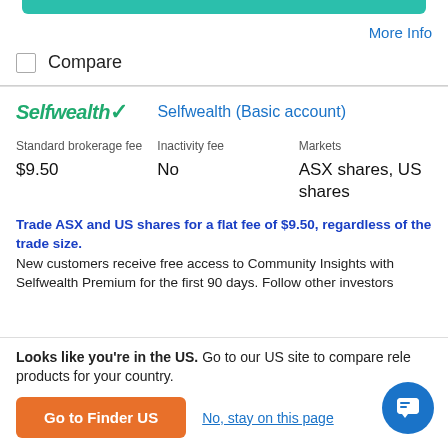[Figure (other): Green rounded button at top of page (partially visible)]
More Info
Compare
Selfwealth/ Selfwealth (Basic account)
| Standard brokerage fee | Inactivity fee | Markets |
| --- | --- | --- |
| $9.50 | No | ASX shares, US shares |
Trade ASX and US shares for a flat fee of $9.50, regardless of the trade size. New customers receive free access to Community Insights with Selfwealth Premium for the first 90 days. Follow other investors
Looks like you're in the US. Go to our US site to compare rele products for your country.
Go to Finder US
No, stay on this page